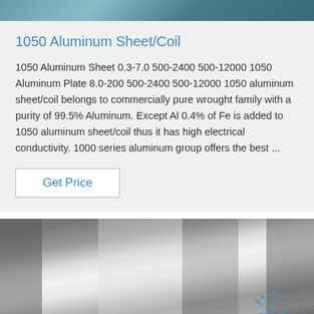[Figure (photo): Top portion of a photo showing aluminum sheet/coil material with bluish-gray tones]
1050 Aluminum Sheet/Coil
1050 Aluminum Sheet 0.3-7.0 500-2400 500-12000 1050 Aluminum Plate 8.0-200 500-2400 500-12000 1050 aluminum sheet/coil belongs to commercially pure wrought family with a purity of 99.5% Aluminum. Except Al 0.4% of Fe is added to 1050 aluminum sheet/coil thus it has high electrical conductivity. 1000 series aluminum group offers the best ...
Get Price
[Figure (photo): Close-up photo of a shiny aluminum coil roll showing metallic silver surface with Haomei watermark logo and TOP brand mark]